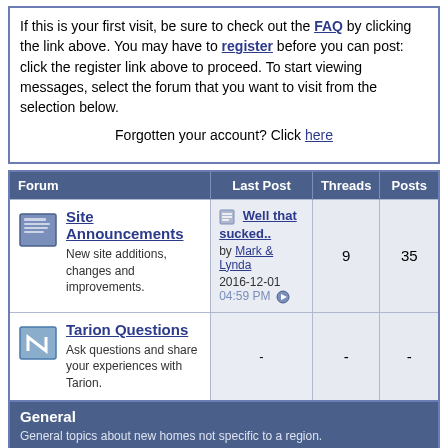If this is your first visit, be sure to check out the FAQ by clicking the link above. You may have to register before you can post: click the register link above to proceed. To start viewing messages, select the forum that you want to visit from the selection below.

Forgotten your account? Click here
| Forum | Last Post | Threads | Posts |
| --- | --- | --- | --- |
| Site Announcements
New site additions, changes and improvements. | Well that sucked..
by Mark & Lynda
2016-12-01 04:59 PM | 9 | 35 |
| Tarion Questions
Ask questions and share your experiences with Tarion. | - | - | - |
General
General topics about new homes not specific to a region.
Sub-Forums: Real Estate Questions, Building and Construction, Home Owner Tips, Upgrades and Maintenance, Financing, Mortgages and Insurance, Appliances and Furniture, Houses For Sale, Home Technology and Electronics, Basement Finishing and Renovations, Chit Chat
Ontario
For all communities in Ontario. Start here. If you do not see yours. Please ask! We'd be happy to add a new one for you.